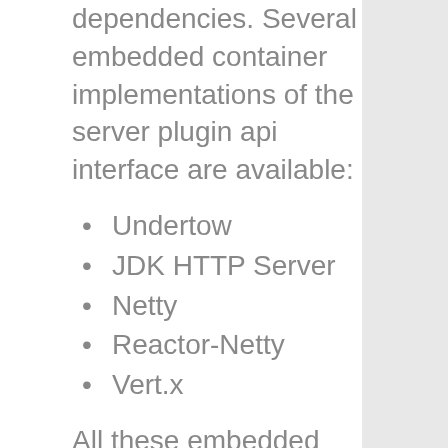dependencies. Several embedded container implementations of the server plugin api interface are available:
Undertow
JDK HTTP Server
Netty
Reactor-Netty
Vert.x
All these embedded container implements